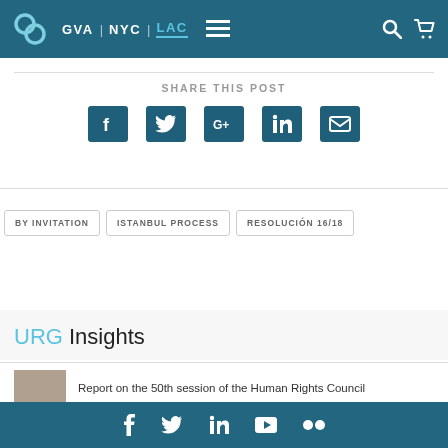GVA | NYC | LAC navigation bar with logo
SHARE THIS POST
[Figure (infographic): Social share icons: Facebook, Twitter, Google+, LinkedIn, Email]
BY INVITATION
ISTANBUL PROCESS
RESOLUCIÓN 16/18
URG Insights
Report on the 50th session of the Human Rights Council
Footer with social icons: Facebook, Twitter, LinkedIn, YouTube, Flickr